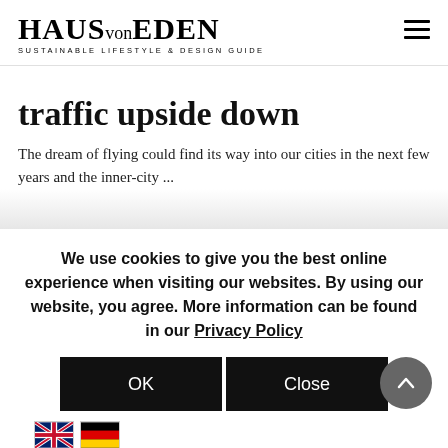HAUS von EDEN — SUSTAINABLE LIFESTYLE & DESIGN GUIDE
traffic upside down
The dream of flying could find its way into our cities in the next few years and the inner-city ...
We use cookies to give you the best online experience when visiting our websites. By using our website, you agree. More information can be found in our Privacy Policy
OK
Close